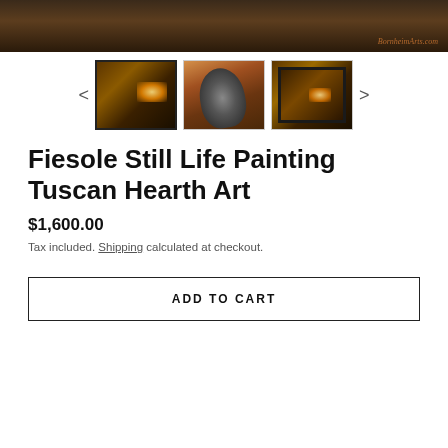[Figure (photo): Header banner showing a dark Tuscan still life painting with warm earthy tones, BornheimArts.com watermark at bottom right]
[Figure (photo): Three thumbnail images of the Fiesole Still Life Painting: first (active/selected) shows full framed painting with glowing hearth, second shows close-up of dark organic seed shape against warm background, third shows an alternate framed version of the painting]
Fiesole Still Life Painting Tuscan Hearth Art
$1,600.00
Tax included. Shipping calculated at checkout.
ADD TO CART